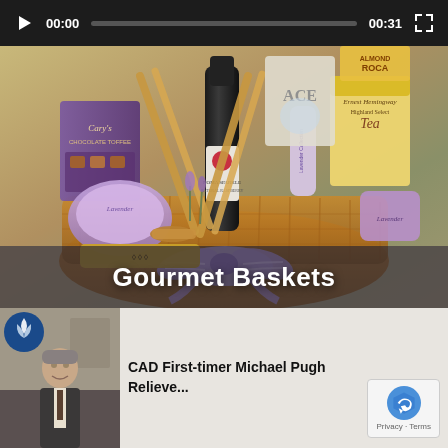[Figure (screenshot): Video player showing a gourmet gift basket filled with lavender products, chocolates, sparkling wine, teas, and other items with a purple bow. Video controls show 00:00 start and 00:31 duration. Title overlay reads 'Gourmet Baskets'.]
Gourmet Baskets
[Figure (screenshot): YouTube video suggestion thumbnail showing a person in a suit with a blue logo icon. Text reads 'CAD First-timer Michael Pugh Relieve...' with a reCAPTCHA badge showing Privacy - Terms.]